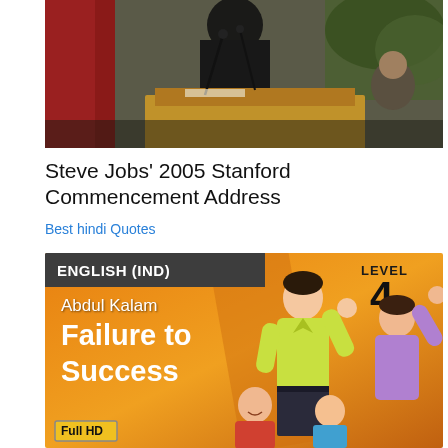[Figure (photo): Photo of Steve Jobs at a podium/lectern speaking at Stanford, wearing black, with microphones in front of him and a red curtain visible to the left, another person visible to the right background.]
Steve Jobs' 2005 Stanford Commencement Address
Best hindi Quotes
[Figure (illustration): Thumbnail image for an educational video about Abdul Kalam's 'Failure to Success'. Orange background with ENGLISH (IND) label in dark banner top-left, LEVEL 4 in top-right. Text reads 'Abdul Kalam' and 'Failure to Success' in bold white. Illustrated cartoon characters on right side. Full HD badge at bottom-left.]